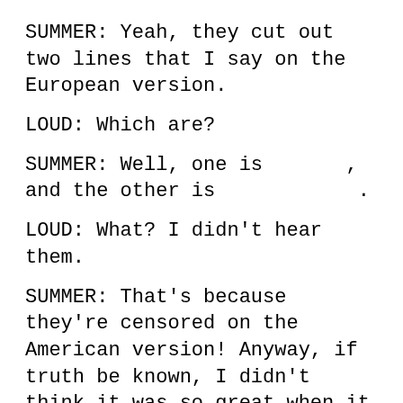SUMMER: Yeah, they cut out two lines that I say on the European version.
LOUD: Which are?
SUMMER: Well, one is [redacted], and the other is [redacted].
LOUD: What? I didn't hear them.
SUMMER: That's because they're censored on the American version! Anyway, if truth be known, I didn't think it was so great when it was finished. It was nice, but I didn't think it was so hot. But when it became a big hit, honey I LOVED that record!